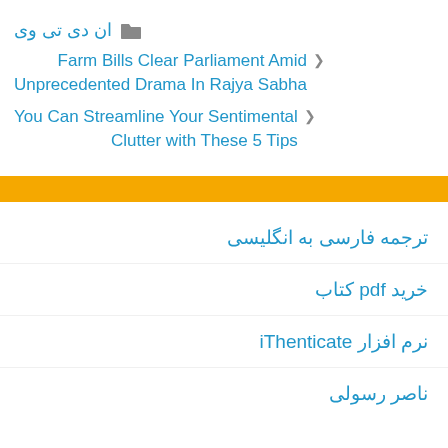ان دی تی وی
Farm Bills Clear Parliament Amid Unprecedented Drama In Rajya Sabha
You Can Streamline Your Sentimental Clutter with These 5 Tips
ترجمه فارسی به انگلیسی
خرید pdf کتاب
نرم افزار iThenticate
ناصر رسولی